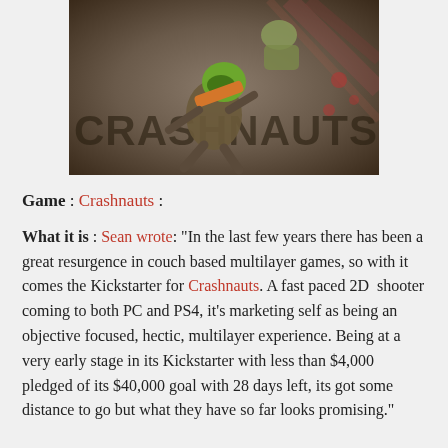[Figure (illustration): Crashnauts game promotional image showing cartoon characters fighting, with the word CRASHNAUTS in the background]
Game : Crashnauts :
What it is : Sean wrote: "In the last few years there has been a great resurgence in couch based multilayer games, so with it comes the Kickstarter for Crashnauts. A fast paced 2D  shooter coming to both PC and PS4, it's marketing self as being an objective focused, hectic, multilayer experience. Being at a very early stage in its Kickstarter with less than $4,000 pledged of its $40,000 goal with 28 days left, its got some distance to go but what they have so far looks promising."